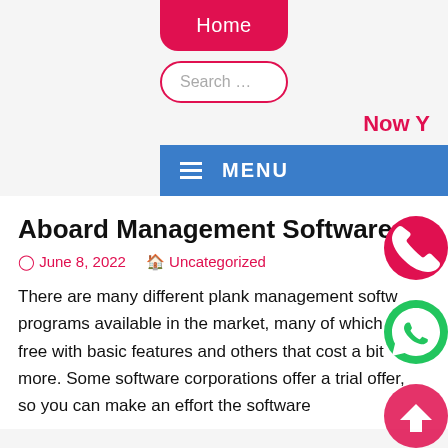Home
Search ...
Now Y
≡ MENU
Aboard Management Software
June 8, 2022   Uncategorized
There are many different plank management software programs available in the market, many of which are free with basic features and others that cost a bit more. Some software corporations offer a trial offer, so you can make an effort the software